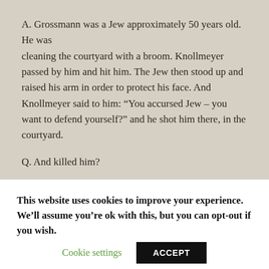A. Grossmann was a Jew approximately 50 years old. He was cleaning the courtyard with a broom. Knollmeyer passed by him and hit him. The Jew then stood up and raised his arm in order to protect his face. And Knollmeyer said to him: “You accursed Jew – you want to defend yourself?” and he shot him there, in the courtyard.
Q. And killed him?
A. Yes, he killed him.
This website uses cookies to improve your experience. We’ll assume you’re ok with this, but you can opt-out if you wish.
Cookie settings
ACCEPT